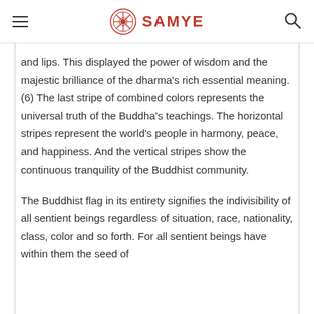SAMYE
and lips. This displayed the power of wisdom and the majestic brilliance of the dharma’s rich essential meaning. (6) The last stripe of combined colors represents the universal truth of the Buddha’s teachings. The horizontal stripes represent the world’s people in harmony, peace, and happiness. And the vertical stripes show the continuous tranquility of the Buddhist community.
The Buddhist flag in its entirety signifies the indivisibility of all sentient beings regardless of situation, race, nationality, class, color and so forth. For all sentient beings have within them the seed of